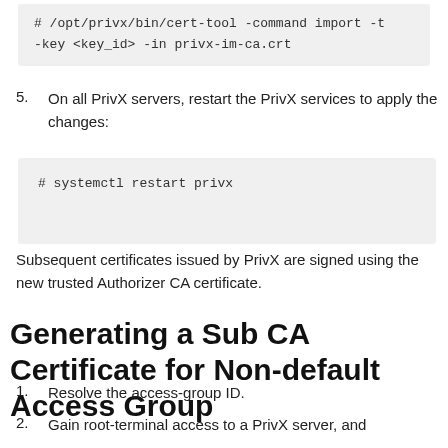# /opt/privx/bin/cert-tool -command import -t
-key <key_id> -in privx-im-ca.crt
5. On all PrivX servers, restart the PrivX services to apply the changes:
# systemctl restart privx
Subsequent certificates issued by PrivX are signed using the new trusted Authorizer CA certificate.
Generating a Sub CA Certificate for Non-default Access Group
1. Resolve the access-group ID.
2. Gain root-terminal access to a PrivX server, and